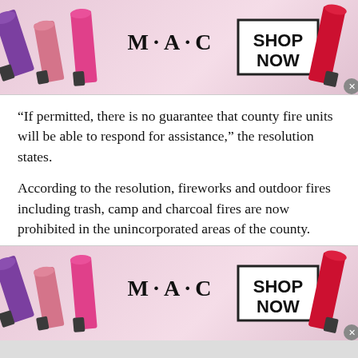[Figure (advertisement): MAC cosmetics advertisement banner with lipsticks, MAC logo, and SHOP NOW button]
“If permitted, there is no guarantee that county fire units will be able to respond for assistance,” the resolution states.
According to the resolution, fireworks and outdoor fires including trash, camp and charcoal fires are now prohibited in the unincorporated areas of the county.
Smoking is prohibited except in enclosed vehicles or buildings, developed recreation sites or in a
[Figure (advertisement): MAC cosmetics advertisement banner (bottom) with lipsticks, MAC logo, and SHOP NOW button]